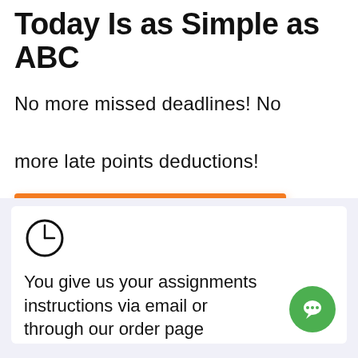Today Is as Simple as ABC
No more missed deadlines! No more late points deductions!
GET STARTED NOW
[Figure (illustration): Clock icon — circular outline with hour and minute hands pointing to approximately 9 o'clock]
You give us your assignments instructions via email or through our order page
[Figure (illustration): Green circular chat bubble icon in the bottom right corner]